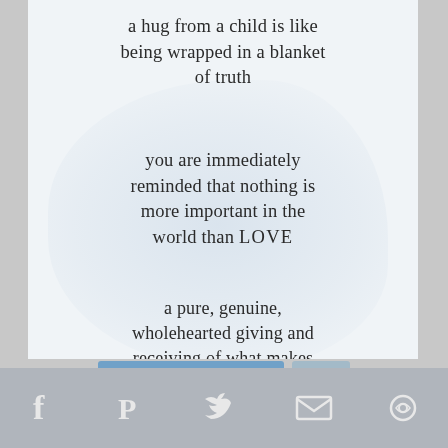a hug from a child is like being wrapped in a blanket of truth
you are immediately reminded that nothing is more important in the world than LOVE
a pure, genuine, wholehearted giving and receiving of what makes the world go 'round
SHELBYSPEAR.COM
[Figure (other): Social media sharing toolbar with Facebook, Pinterest, Twitter, email, and share icons on a gray background]